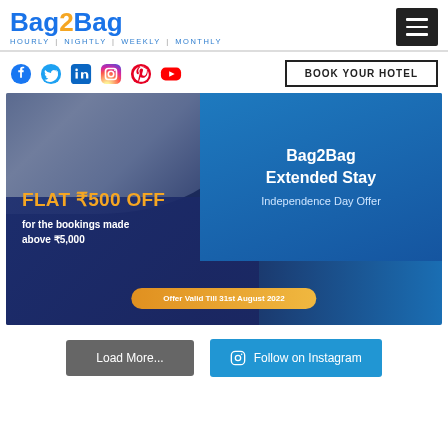Bag2Bag — HOURLY | NIGHTLY | WEEKLY | MONTHLY
[Figure (logo): Bag2Bag logo with tagline HOURLY | NIGHTLY | WEEKLY | MONTHLY and hamburger menu icon]
BOOK YOUR HOTEL
[Figure (infographic): Bag2Bag Extended Stay Independence Day Offer promotional banner. FLAT ₹500 OFF for the bookings made above ₹5,000. Offer valid Till 31st August 2022.]
Load More...
Follow on Instagram